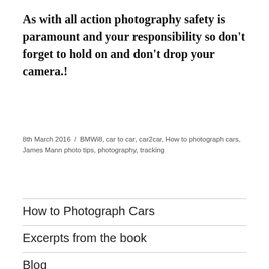As with all action photography safety is paramount and your responsibility so don't forget to hold on and don't drop your camera.!
8th March 2016 / BMWi8, car to car, car2car, How to photograph cars, James Mann photo tips, photography, tracking
How to Photograph Cars
Excerpts from the book
Blog